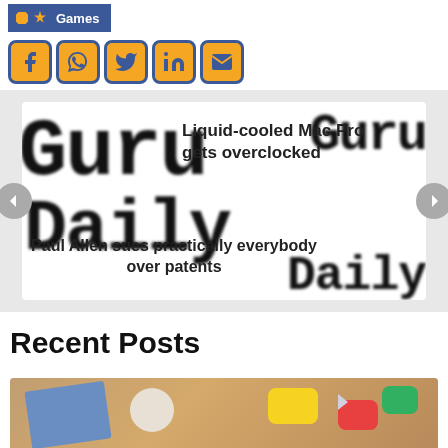[Figure (screenshot): Games category tag/badge in blue with bookmark icon]
[Figure (infographic): Social media share icons row: Facebook, WhatsApp, Twitter, LinkedIn, Email — orange icons with blue borders]
[Figure (screenshot): Carousel/slider showing two overlapping article headlines: 'Liquid-cooled Mac Pro gets overclocked' and 'Paul Allen sues practically everybody over patents', with blurred 'Guru Daily' logo background and left/right navigation arrows]
Recent Posts
[Figure (photo): Photo showing a wooden desk top-down view with a notebook, pen, coffee cup, and colorful chat bubble icons on the right side]